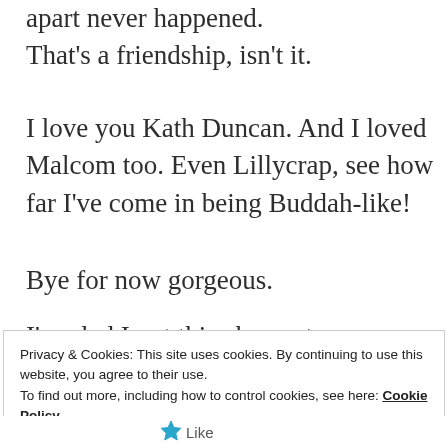apart never happened. That's a friendship, isn't it.
I love you Kath Duncan. And I loved Malcom too. Even Lillycrap, see how far I've come in being Buddah-like!
Bye for now gorgeous.
I'm glad I got this chance to say a
Privacy & Cookies: This site uses cookies. By continuing to use this website, you agree to their use.
To find out more, including how to control cookies, see here: Cookie Policy
Close and accept
Like